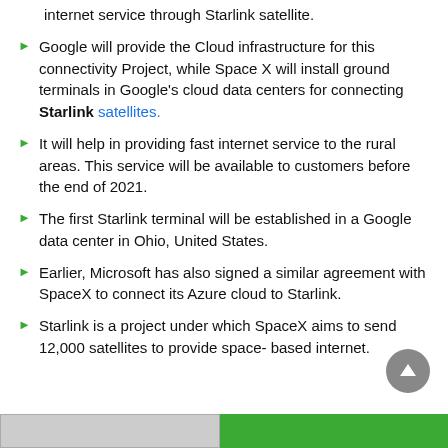internet service through Starlink satellite.
Google will provide the Cloud infrastructure for this connectivity Project, while Space X will install ground terminals in Google's cloud data centers for connecting Starlink satellites.
It will help in providing fast internet service to the rural areas. This service will be available to customers before the end of 2021.
The first Starlink terminal will be established in a Google data center in Ohio, United States.
Earlier, Microsoft has also signed a similar agreement with SpaceX to connect its Azure cloud to Starlink.
Starlink is a project under which SpaceX aims to send 12,000 satellites to provide space- based internet.